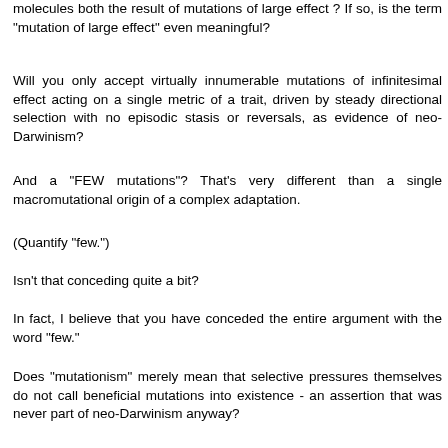molecules both the result of mutations of large effect ? If so, is the term "mutation of large effect" even meaningful?
Will you only accept virtually innumerable mutations of infinitesimal effect acting on a single metric of a trait, driven by steady directional selection with no episodic stasis or reversals, as evidence of neo-Darwinism?
And a "FEW mutations"? That's very different than a single macromutational origin of a complex adaptation.
(Quantify "few.")
Isn't that conceding quite a bit?
In fact, I believe that you have conceded the entire argument with the word "few."
Does "mutationism" merely mean that selective pressures themselves do not call beneficial mutations into existence - an assertion that was never part of neo-Darwinism anyway?